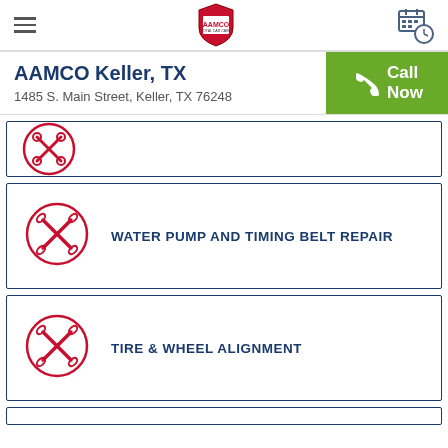AAMCO Keller, TX — Navigation header with logo, hamburger menu, and schedule icon
AAMCO Keller, TX
1485 S. Main Street, Keller, TX 76248
WATER PUMP AND TIMING BELT REPAIR
TIRE & WHEEL ALIGNMENT